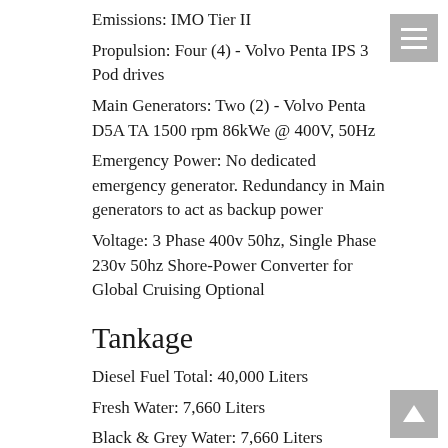Emissions: IMO Tier II
Propulsion: Four (4) - Volvo Penta IPS 3 Pod drives
Main Generators: Two (2) - Volvo Penta D5A TA 1500 rpm 86kWe @ 400V, 50Hz
Emergency Power: No dedicated emergency generator. Redundancy in Main generators to act as backup power
Voltage: 3 Phase 400v 50hz, Single Phase 230v 50hz Shore-Power Converter for Global Cruising Optional
Tankage
Diesel Fuel Total: 40,000 Liters
Fresh Water: 7,660 Liters
Black & Grey Water: 7,660 Liters